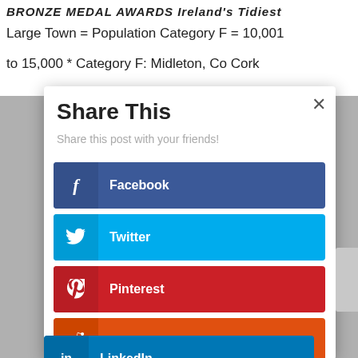BRONZE MEDAL AWARDS Ireland's Tidiest Large Town = Population Category F = 10,001 to 15,000 * Category F: Midleton, Co Cork
Share This
Share this post with your friends!
Facebook
Twitter
Pinterest
reddit
LinkedIn
Tumblr